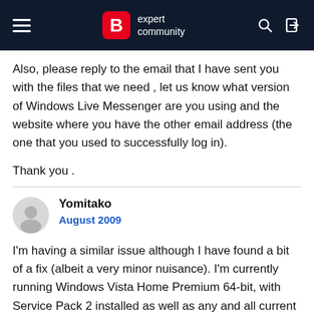expert community
Also, please reply to the email that I have sent you with the files that we need , let us know what version of Windows Live Messenger are you using and the website where you have the other email address (the one that you used to successfully log in).
Thank you .
Yomitako
August 2009
I'm having a similar issue although I have found a bit of a fix (albeit a very minor nuisance). I'm currently running Windows Vista Home Premium 64-bit, with Service Pack 2 installed as well as any and all current updates for